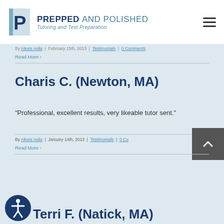[Figure (logo): Prepped and Polished logo with notebook and P icon]
By Alexis Avila | February 15th, 2013 | Testimonials | 0 Comments
Read More >
Charis C. (Newton, MA)
"Professional, excellent results, very likeable tutor sent."
By Alexis Avila | January 14th, 2013 | Testimonials | 0 Comments
Read More >
Terri F. (Natick, MA)